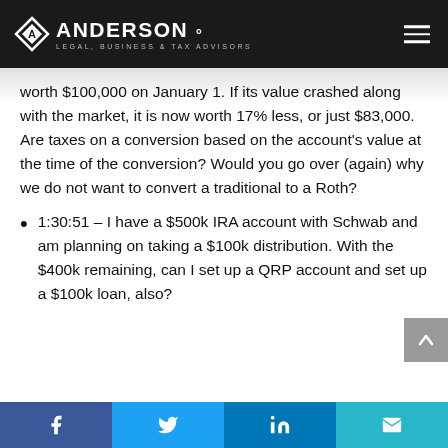ANDERSON LEGAL, BUSINESS & TAX ADVISORS
worth $100,000 on January 1. If its value crashed along with the market, it is now worth 17% less, or just $83,000. Are taxes on a conversion based on the account's value at the time of the conversion? Would you go over (again) why we do not want to convert a traditional to a Roth?
1:30:51 – I have a $500k IRA account with Schwab and am planning on taking a $100k distribution. With the $400k remaining, can I set up a QRP account and set up a $100k loan, also?